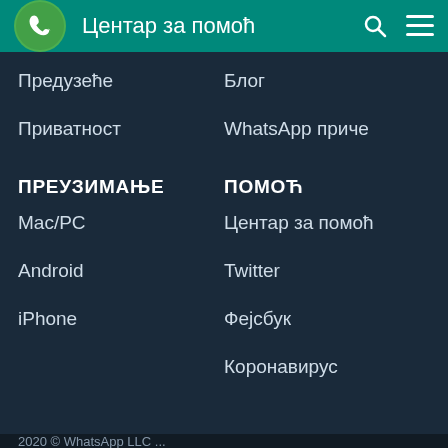Центар за помоћ
Предузеће
Блог
Приватност
WhatsApp приче
ПРЕУЗИМАЊЕ
ПОМОЋ
Mac/PC
Центар за помоћ
Android
Twitter
iPhone
Фејсбук
Коронавирус
2020 © WhatsApp LLC ...